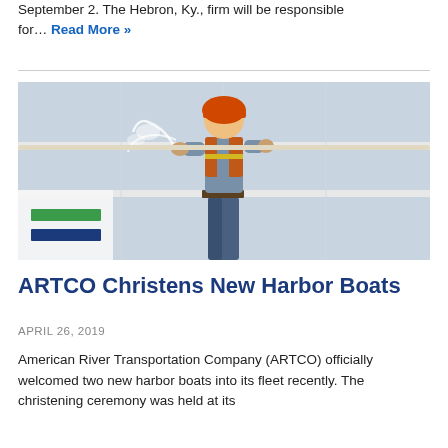September 2. The Hebron, Ky., firm will be responsible for… Read More »
[Figure (photo): A worker in a blue shirt and orange safety vest working on a boat or vessel, christening ceremony. A company logo with green and blue horizontal bars is overlaid in the bottom-left corner.]
ARTCO Christens New Harbor Boats
APRIL 26, 2019
American River Transportation Company (ARTCO) officially welcomed two new harbor boats into its fleet recently. The christening ceremony was held at its